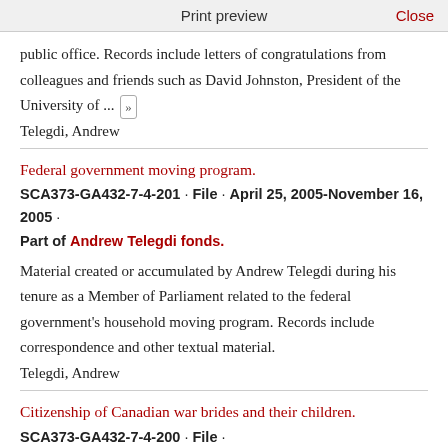Print preview   Close
public office. Records include letters of congratulations from colleagues and friends such as David Johnston, President of the University of ... »
Telegdi, Andrew
Federal government moving program.
SCA373-GA432-7-4-201 · File · April 25, 2005-November 16, 2005 · Part of Andrew Telegdi fonds.
Material created or accumulated by Andrew Telegdi during his tenure as a Member of Parliament related to the federal government's household moving program. Records include correspondence and other textual material.
Telegdi, Andrew
Citizenship of Canadian war brides and their children.
SCA373-GA432-7-4-200 · File ·